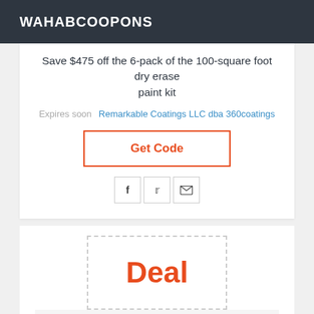WAHABCOOPONS
Save $475 off the 6-pack of the 100-square foot dry erase paint kit
Expires soon   Remarkable Coatings LLC dba 360coatings
Get Code
[Figure (other): Social share buttons: Facebook, Twitter, Email]
Deal
Deal